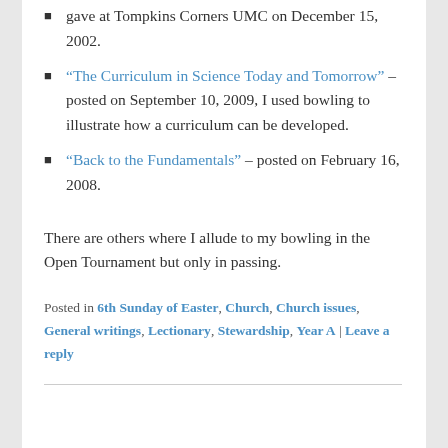gave at Tompkins Corners UMC on December 15, 2002.
“The Curriculum in Science Today and Tomorrow” – posted on September 10, 2009, I used bowling to illustrate how a curriculum can be developed.
“Back to the Fundamentals” – posted on February 16, 2008.
There are others where I allude to my bowling in the Open Tournament but only in passing.
Posted in 6th Sunday of Easter, Church, Church issues, General writings, Lectionary, Stewardship, Year A | Leave a reply